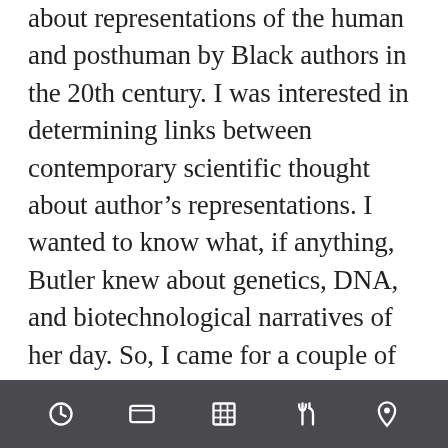about representations of the human and posthuman by Black authors in the 20th century. I was interested in determining links between contemporary scientific thought about author's representations. I wanted to know what, if anything, Butler knew about genetics, DNA, and biotechnological narratives of her day. So, I came for a couple of weeks and found that she indeed knew a lot about all of it—and a lot more. What really excited me was the extent of Butler's research and the care she took in doing it. Her research notes and marginalia are both incredibly detailed and intensely organized. I quickly realized that the conversation in which s her novels was so much
[Figure (screenshot): Mobile device taskbar/navigation bar with dark gray background containing five icons: clock/history, screen/tablet, calendar/grid, restaurant/utensils, and location pin]